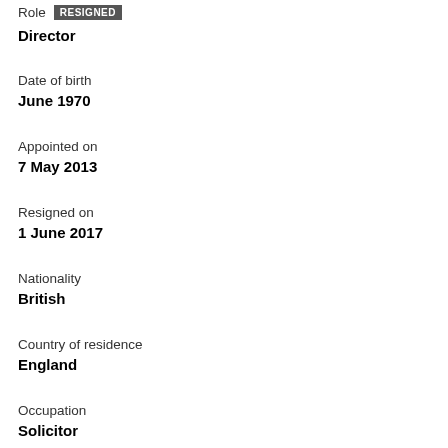Role RESIGNED
Director
Date of birth
June 1970
Appointed on
7 May 2013
Resigned on
1 June 2017
Nationality
British
Country of residence
England
Occupation
Solicitor